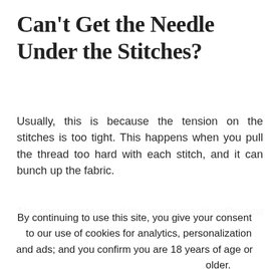Can't Get the Needle Under the Stitches?
Usually, this is because the tension on the stitches is too tight. This happens when you pull the thread too hard with each stitch, and it can bunch up the fabric.
The best way to avoid this is just practice. Especially if you are working on your first
By continuing to use this site, you give your consent to our use of cookies for analytics, personalization and ads; and you confirm you are 18 years of age or older.